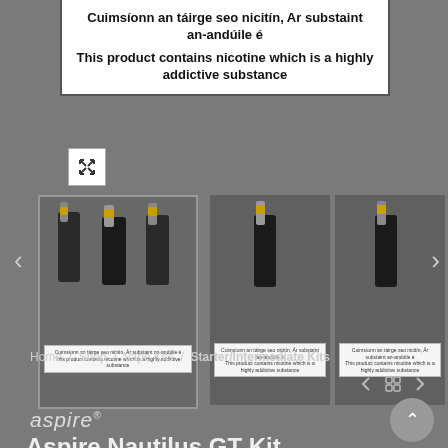[Figure (screenshot): Partial green circular logo at top center of page]
nCigarettes
Cuimsíonn an táirge seo nicitín, Ar substaint an-andúile é

This product contains nicotine which is a highly addictive substance
[Figure (photo): Carousel of vape kit product images, three visible. Left card is highlighted. Each card shows vape device on top and a health warning label below.]
Home / Shop / Vape Kits / Starter/Intermediate Kits
[Figure (illustration): Navigation arrows and grid icon for product navigation]
[Figure (logo): aspire brand logo in italic text]
Aspire Nautilus GT Kit